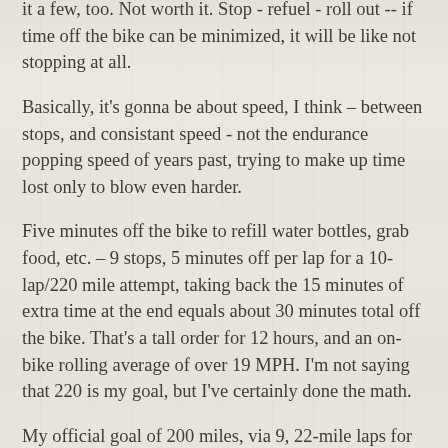it a few, too. Not worth it. Stop - refuel - roll out -- if time off the bike can be minimized, it will be like not stopping at all.
Basically, it's gonna be about speed, I think – between stops, and consistant speed - not the endurance popping speed of years past, trying to make up time lost only to blow even harder.
Five minutes off the bike to refill water bottles, grab food, etc. – 9 stops, 5 minutes off per lap for a 10-lap/220 mile attempt, taking back the 15 minutes of extra time at the end equals about 30 minutes total off the bike. That's a tall order for 12 hours, and an on-bike rolling average of over 19 MPH. I'm not saying that 220 is my goal, but I've certainly done the math.
My official goal of 200 miles, via 9, 22-mile laps for 198 officially, and 2 extra miles for myself at the end, is a little easier -- but not by much. There's only about a 1.8 MPH average difference between lap totals, so 198 miles is still in the 18's, and so on. But, I also figure I got 177 miles with a solid 45 minute break off the bike between my last two laps